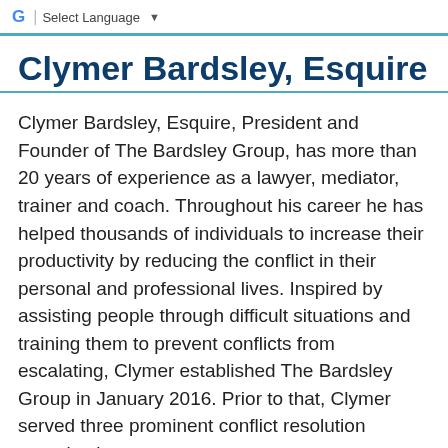G Select Language ▼
Clymer Bardsley, Esquire
Clymer Bardsley, Esquire, President and Founder of The Bardsley Group, has more than 20 years of experience as a lawyer, mediator, trainer and coach. Throughout his career he has helped thousands of individuals to increase their productivity by reducing the conflict in their personal and professional lives. Inspired by assisting people through difficult situations and training them to prevent conflicts from escalating, Clymer established The Bardsley Group in January 2016. Prior to that, Clymer served three prominent conflict resolution organizations: